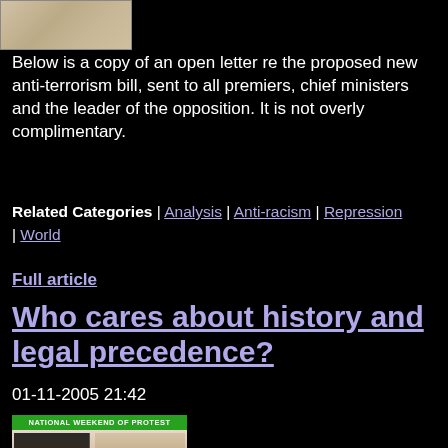[Figure (photo): Small thumbnail image, appears to be a document or historical photograph with beige/tan tones]
Below is a copy of an open letter re the proposed new anti-terrorism bill, sent to all premiers, chief ministers and the leader of the opposition. It is not overly complimentary.
Related Categories | Analysis | Anti-racism | Repression | World
Full article
Who cares about history and legal precedence?
01-11-2005 21:42
[Figure (photo): Protest poster reading NATIONAL WEEKEND OF PROTEST with two people with tape over their mouths. Text reads DON'T BE SILENCED, Defend civil liberties, Defend Muslims]